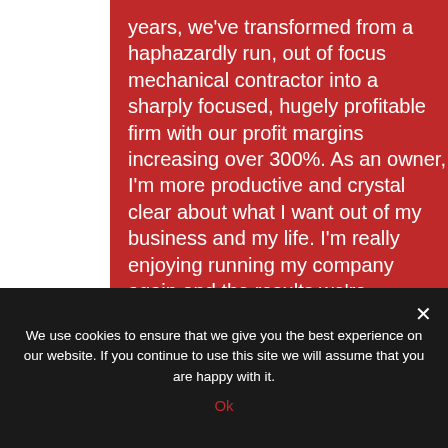years, we've transformed from a haphazardly run, out of focus mechanical contractor into a sharply focused, hugely profitable firm with our profit margins increasing over 300%. As an owner, I'm more productive and crystal clear about what I want out of my business and my life. I'm really enjoying running my company again and the results we're producing.
Bob Terry
We use cookies to ensure that we give you the best experience on our website. If you continue to use this site we will assume that you are happy with it.
Ok